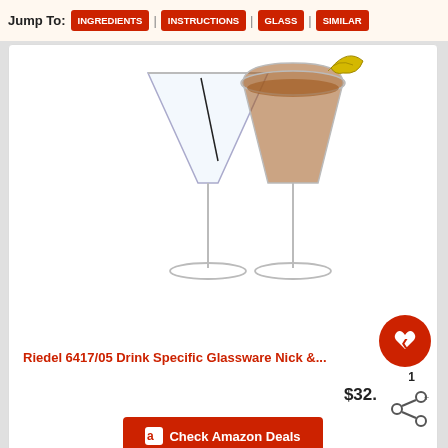Jump To: INGREDIENTS | INSTRUCTIONS | GLASS | SIMILAR
[Figure (illustration): Two cocktail glasses: a martini glass with olive garnish on the left, and a coupe glass with amber liquid and citrus peel on the right]
Riedel 6417/05 Drink Specific Glassware Nick &...
$32.
Check Amazon Deals
WHAT'S NEXT → Speedball
[Figure (photo): Advertisement banner: DON'T TEXT AND [car emoji] — NHTSA ad]